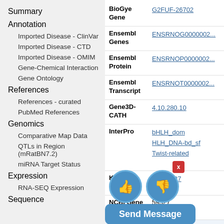Summary
Annotation
Imported Disease - ClinVar
Imported Disease - CTD
Imported Disease - OMIM
Gene-Chemical Interaction
Gene Ontology
References
References - curated
PubMed References
Genomics
Comparative Map Data
QTLs in Region (mRatBN7.2)
miRNA Target Status
Expression
RNA-SEQ Expression
Sequence
| Label | Value |
| --- | --- |
| BioGene Gene | G2FUF-26702 |
| Ensembl Genes | ENSRNOG0000002... |
| Ensembl Protein | ENSRNOP0000002... |
| Ensembl Transcript | ENSRNOT0000002... |
| Gene3D-CATH | 4.10.280.10 |
| InterPro | bHLH_dom
HLH_DNA-bd_sf
Twist-related |
| KEGG Report | rno:59327 |
| NCBI Gene | 59327 |
| PANTHER | PTHR23349:SF70 |
| Plain | HLH |
| PROSITE | BHLH |